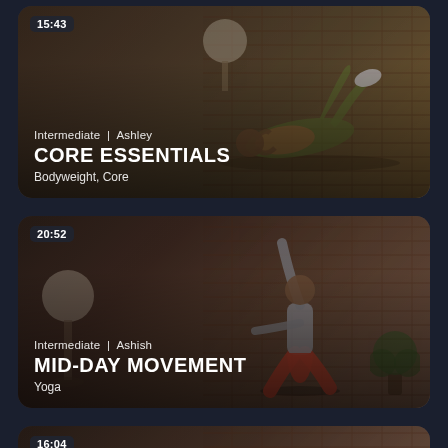[Figure (screenshot): Fitness app card 1: Woman doing core exercise on floor. Duration 15:43. Intermediate | Ashley. CORE ESSENTIALS. Bodyweight, Core.]
[Figure (screenshot): Fitness app card 2: Man doing yoga pose (warrior). Duration 20:52. Intermediate | Ashish. MID-DAY MOVEMENT. Yoga.]
[Figure (screenshot): Fitness app card 3 (partially visible): Duration 16:04. Partial image showing shoes.]